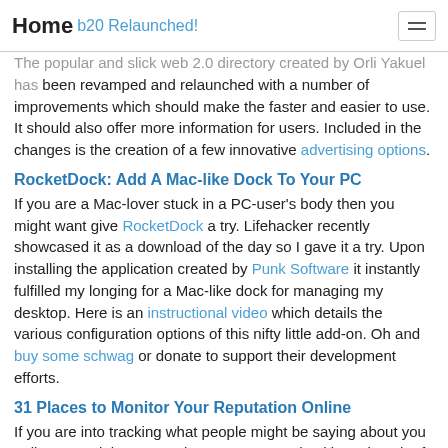Home  b20 Relaunched!
The popular and slick web 2.0 directory created by Orli Yakuel has been revamped and relaunched with a number of improvements which should make the faster and easier to use. It should also offer more information for users. Included in the changes is the creation of a few innovative advertising options.
RocketDock: Add A Mac-like Dock To Your PC
If you are a Mac-lover stuck in a PC-user's body then you might want give RocketDock a try. Lifehacker recently showcased it as a download of the day so I gave it a try. Upon installing the application created by Punk Software it instantly fulfilled my longing for a Mac-like dock for managing my desktop. Here is an instructional video which details the various configuration options of this nifty little add-on. Oh and buy some schwag or donate to support their development efforts.
31 Places to Monitor Your Reputation Online
If you are into tracking what people might be saying about you online you might want make sure you are checking a bunch of online sources. This article lists 31 places to keep your online reputation in check.